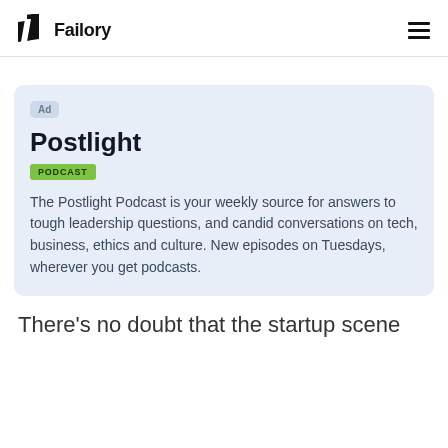Failory
[Figure (infographic): Advertisement card for Postlight Podcast. Contains 'Ad' badge, title 'Postlight', green 'PODCAST' badge, and description text.]
There’s no doubt that the startup scene